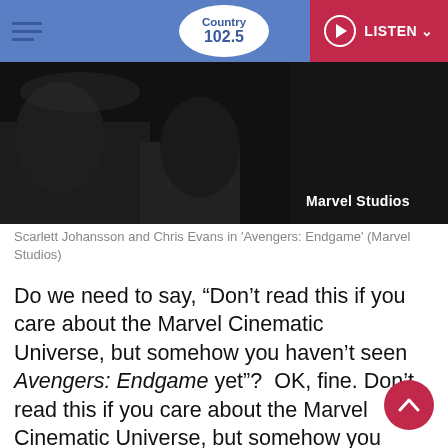Country 102.5 — LISTEN
[Figure (photo): Dark movie still from Avengers: Endgame with 'Marvel Studios' watermark in lower right]
Scarlett Johansson and Chris Evans in 'Avengers: Endgame' (Marvel Studios)
Do we need to say, "Don't read this if you care about the Marvel Cinematic Universe, but somehow you haven't seen Avengers: Endgame yet"?  OK, fine. Don't read this if you care about the Marvel Cinematic Universe, but somehow you haven't seen Avengers: Endgame yet. Major spoilers lie ahead